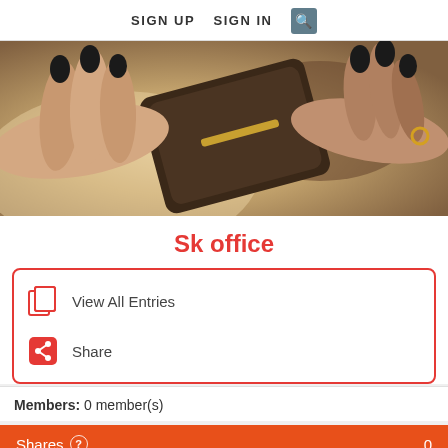SIGN UP  SIGN IN  [search]
[Figure (photo): Close-up photo of hands with dark nail polish holding a brown leather wallet/purse]
Sk office
View All Entries
Share
Members: 0 member(s)
Shares  0
Clicks  0